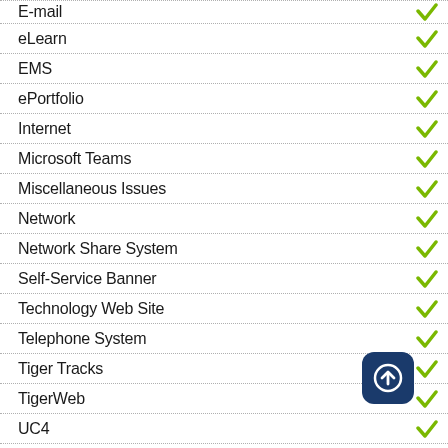eLearn
EMS
ePortfolio
Internet
Microsoft Teams
Miscellaneous Issues
Network
Network Share System
Self-Service Banner
Technology Web Site
Telephone System
Tiger Tracks
TigerWeb
UC4
VPN